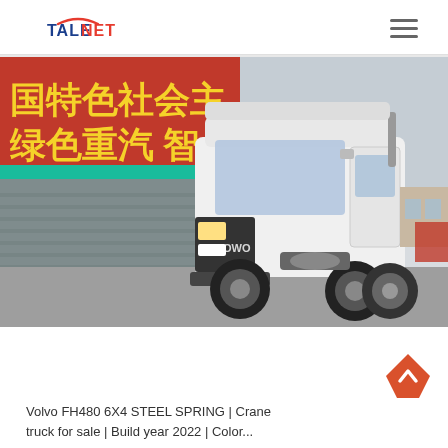TALENET
[Figure (photo): White HOWO tractor truck (6x4 configuration) parked in a lot with Chinese signage in the background reading characters related to socialism and Sinotruk branding]
Volvo FH480 6X4 STEEL SPRING | Crane truck for sale | Build year 2022 | Color...